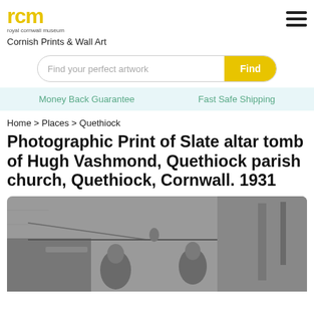[Figure (logo): Royal Cornwall Museum (RCM) logo in yellow with text 'royal cornwall museum' below]
Cornish Prints & Wall Art
Find your perfect artwork
Money Back Guarantee    Fast Safe Shipping
Home > Places > Quethiock
Photographic Print of Slate altar tomb of Hugh Vashmond, Quethiock parish church, Quethiock, Cornwall. 1931
[Figure (photo): Black and white photograph of a slate altar tomb of Hugh Vashmond, showing carved stone figures/effigies on the tomb surface, inside Quethiock parish church, Cornwall. 1931]